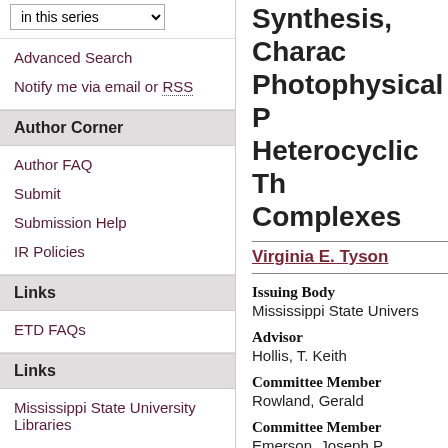in this series [dropdown]
Advanced Search
Notify me via email or RSS
Author Corner
Author FAQ
Submit
Submission Help
IR Policies
Links
ETD FAQs
Links
Mississippi State University Libraries
Copyright
Synthesis, Characterization, and Photophysical Properties of Heterocyclic Thio-Carbene Complexes
Virginia E. Tyson
Issuing Body
Mississippi State University
Advisor
Hollis, T. Keith
Committee Member
Rowland, Gerald
Committee Member
Emerson, Joseph P.
Date of Degree
8-15-2014
Document Type
Graduate Thesis - Open Access